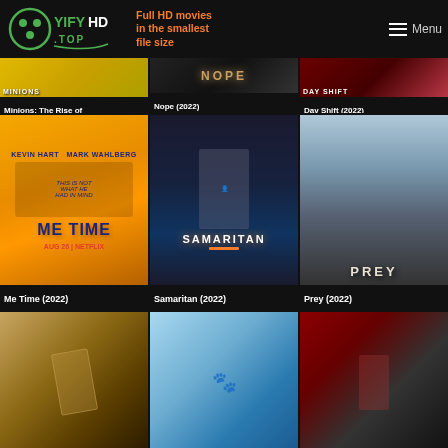YIFYHD.TOP — Full HD movies in the smallest file size — Menu
[Figure (screenshot): Movie poster grid showing: Minions: The Rise of Gru (2022), Nope (2022), Day Shift (2022), Me Time (2022), Samaritan (2022), Prey (2022), plus three more partially visible posters in bottom row]
Minions: The Rise of Gru (2022)
Nope (2022)
Day Shift (2022)
Me Time (2022)
Samaritan (2022)
Prey (2022)